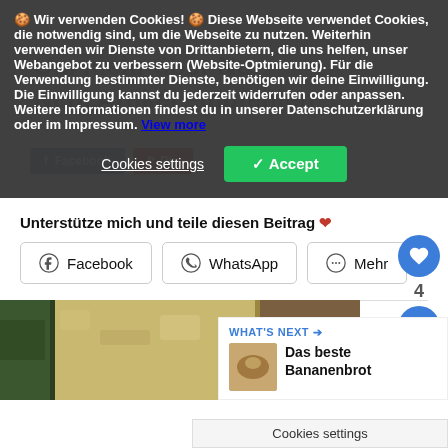🍪 Wir verwenden Cookies! 🍪 Diese Webseite verwendet Cookies, die notwendig sind, um die Webseite zu nutzen. Weiterhin verwenden wir Dienste von Drittanbietern, die uns helfen, unser Webangebot zu verbessern (Website-Optmierung). Für die Verwendung bestimmter Dienste, benötigen wir deine Einwilligung. Die Einwilligung kannst du jederzeit widerrufen oder anpassen. Weitere Informationen findest du in unserer Datenschutzerklärung oder im Impressum. View more
Cookies settings
✓ Accept
Unterstütze mich und teile diesen Beitrag ❤
Facebook
WhatsApp
Mehr
Gefällt mir:
Wird geladen....
WHAT'S NEXT → Das beste Bananenbrot
Cookies settings